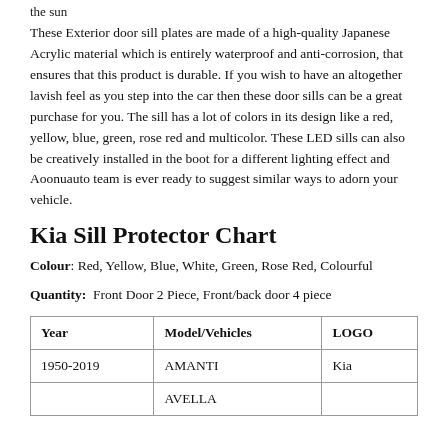the sun
These Exterior door sill plates are made of a high-quality Japanese Acrylic material which is entirely waterproof and anti-corrosion, that ensures that this product is durable. If you wish to have an altogether lavish feel as you step into the car then these door sills can be a great purchase for you. The sill has a lot of colors in its design like a red, yellow, blue, green, rose red and multicolor. These LED sills can also be creatively installed in the boot for a different lighting effect and Aoonuauto team is ever ready to suggest similar ways to adorn your vehicle.
Kia Sill Protector Chart
Colour: Red, Yellow, Blue, White, Green, Rose Red, Colourful
Quantity: Front Door 2 Piece, Front/back door 4 piece
| Year | Model/Vehicles | LOGO |
| --- | --- | --- |
| 1950-2019 | AMANTI | Kia |
|  | AVELLA |  |